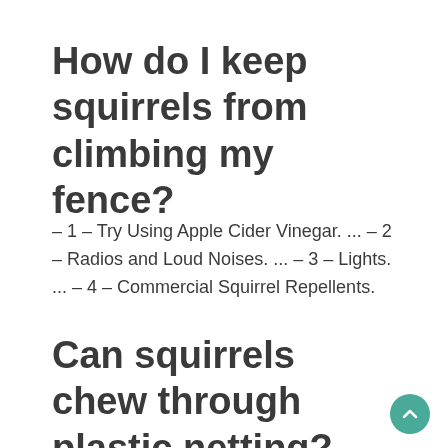How do I keep squirrels from climbing my fence?
– 1 – Try Using Apple Cider Vinegar. ... – 2 – Radios and Loud Noises. ... – 3 – Lights. ... – 4 – Commercial Squirrel Repellents.
Can squirrels chew through plastic netting?